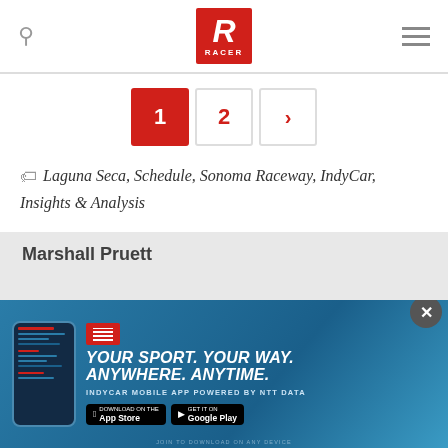[Figure (logo): RACER magazine logo - red square with white italic R and RACER text below]
1  2  >
Laguna Seca, Schedule, Sonoma Raceway, IndyCar, Insights & Analysis
SHARE THIS
1.3k SHARES
[Figure (infographic): Advertisement banner: YOUR SPORT. YOUR WAY. ANYWHERE. ANYTIME. INDYCAR MOBILE APP POWERED BY NTT DATA with App Store and Google Play buttons]